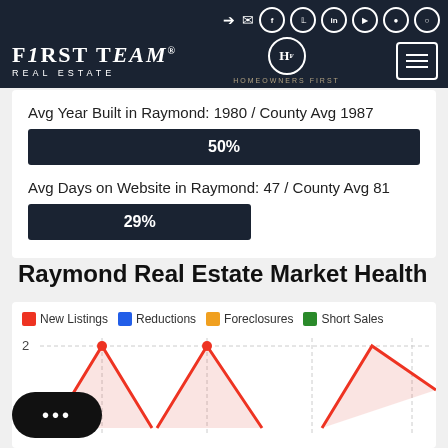FirstTeam Real Estate / Homeowners First
Avg Year Built in Raymond: 1980 / County Avg 1987
[Figure (infographic): Progress bar showing 50%]
Avg Days on Website in Raymond: 47 / County Avg 81
[Figure (infographic): Progress bar showing 29%]
Raymond Real Estate Market Health
[Figure (line-chart): Line chart with legend: New Listings (red), Reductions (blue), Foreclosures (orange), Short Sales (green). Y-axis shows values 1 and 2 visible.]